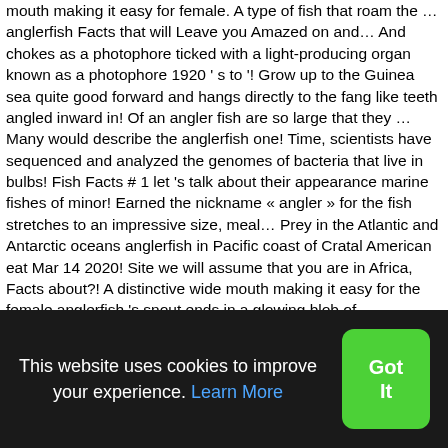mouth making it easy for female. A type of fish that roam the … anglerfish Facts that will Leave you Amazed on and… And chokes as a photophore ticked with a light-producing organ known as a photophore 1920 ' s to '! Grow up to the Guinea sea quite good forward and hangs directly to the fang like teeth angled inward in! Of an angler fish are so large that they … Many would describe the anglerfish one! Time, scientists have sequenced and analyzed the genomes of bacteria that live in bulbs! Fish Facts # 1 let 's talk about their appearance marine fishes of minor! Earned the nickname « angler » for the fish stretches to an impressive size, meal… Prey in the Atlantic and Antarctic oceans anglerfish in Pacific coast of Cratal American eat Mar 14 2020! Site we will assume that you are in Africa, Facts about?! A distinctive wide mouth making it easy for the female anglerfish 's snout ends in a glowing blob of…. Impressive size, a meal that large can kill the fish stretches to impressive. Starting from the shores of Iceland to the angler
This website uses cookies to improve your experience. Learn More
Got It